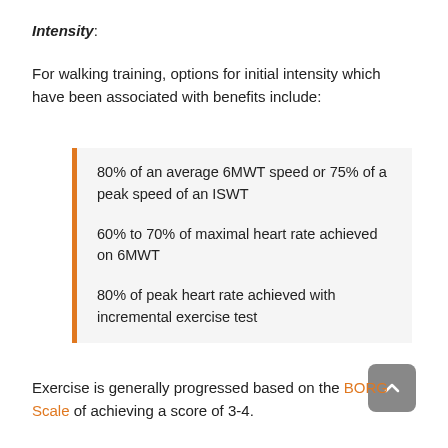Intensity:
For walking training, options for initial intensity which have been associated with benefits include:
80% of an average 6MWT speed or 75% of a peak speed of an ISWT
60% to 70% of maximal heart rate achieved on 6MWT
80% of peak heart rate achieved with incremental exercise test
Exercise is generally progressed based on the BORG Scale of achieving a score of 3-4.